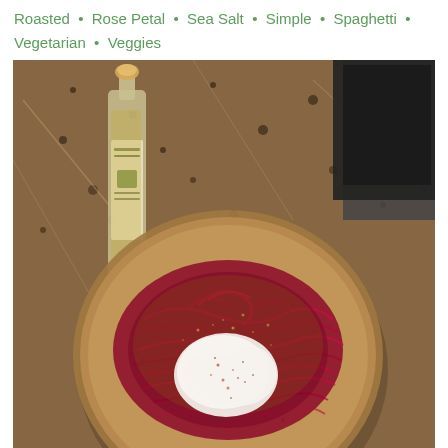Roasted • Rose Petal • Sea Salt • Simple • Spaghetti • Vegetarian • Veggies
[Figure (photo): A photo of a ceramic bowl of red/beet spaghetti topped with a dollop of white ricotta or cream cheese, sprinkled with seasoning, placed on a granite countertop next to a bottle of olive oil.]